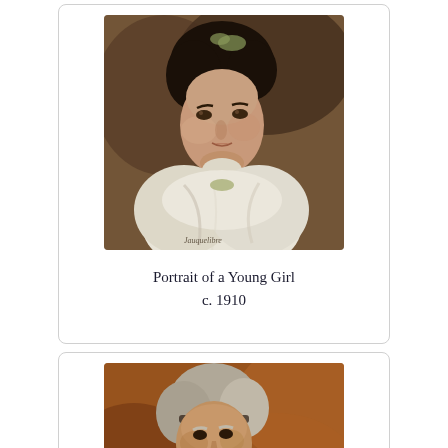[Figure (illustration): Oil painting portrait of a young woman with dark hair wearing a white dress, signed at bottom, c. 1910]
Portrait of a Young Girl
c. 1910
[Figure (illustration): Oil painting portrait of an elderly person with white/grey hair, warm reddish-brown tones]